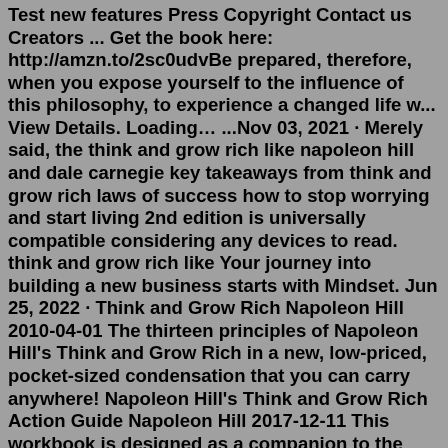Test new features Press Copyright Contact us Creators ... Get the book here: http://amzn.to/2sc0udvBe prepared, therefore, when you expose yourself to the influence of this philosophy, to experience a changed life w... View Details. Loading… ...Nov 03, 2021 · Merely said, the think and grow rich like napoleon hill and dale carnegie key takeaways from think and grow rich laws of success how to stop worrying and start living 2nd edition is universally compatible considering any devices to read. think and grow rich like Your journey into building a new business starts with Mindset. Jun 25, 2022 · Think and Grow Rich Napoleon Hill 2010-04-01 The thirteen principles of Napoleon Hill's Think and Grow Rich in a new, low-priced, pocket-sized condensation that you can carry anywhere! Napoleon Hill's Think and Grow Rich Action Guide Napoleon Hill 2017-12-11 This workbook is designed as a companion to the best selling personal development book ... Jun 23, 2022 · Mastermind Napoleon Hill Think and Grow Rich Napoleon Hill i